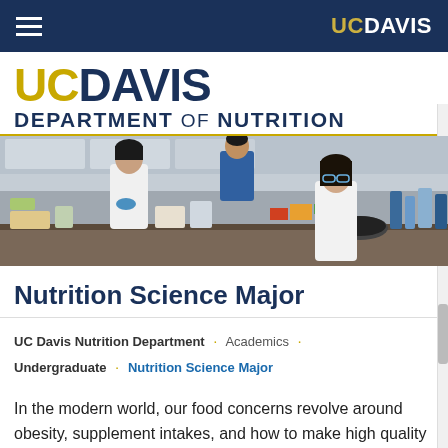UC DAVIS (navigation bar with hamburger menu and UC Davis logo)
UC DAVIS DEPARTMENT OF NUTRITION
[Figure (photo): Laboratory scene with researchers in white lab coats and blue gloves working at lab benches with equipment, bottles, and supplies]
Nutrition Science Major
UC Davis Nutrition Department · Academics · Undergraduate · Nutrition Science Major
In the modern world, our food concerns revolve around obesity, supplement intakes, and how to make high quality diets more affordable, all important questions for the...